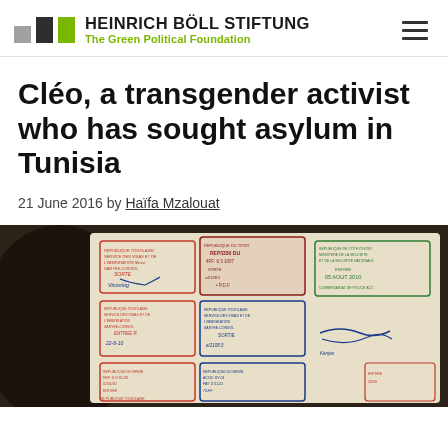HEINRICH BÖLL STIFTUNG — The Green Political Foundation
Cléo, a transgender activist who has sought asylum in Tunisia
21 June 2016 by Haïfa Mzalouat
[Figure (photo): Close-up photograph of a passport open to a page showing multiple immigration stamps from various countries in red, blue, and green ink.]